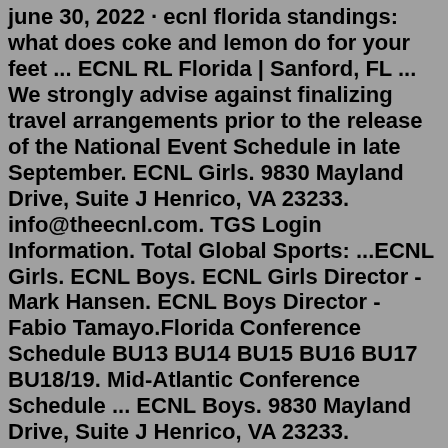june 30, 2022 · ecnl florida standings: what does coke and lemon do for your feet ... ECNL RL Florida | Sanford, FL ... We strongly advise against finalizing travel arrangements prior to the release of the National Event Schedule in late September. ECNL Girls. 9830 Mayland Drive, Suite J Henrico, VA 23233. info@theecnl.com. TGS Login Information. Total Global Sports: ...ECNL Girls. ECNL Boys. ECNL Girls Director - Mark Hansen. ECNL Boys Director - Fabio Tamayo.Florida Conference Schedule BU13 BU14 BU15 BU16 BU17 BU18/19. Mid-Atlantic Conference Schedule ... ECNL Boys. 9830 Mayland Drive, Suite J Henrico, VA 23233. info@theecnl.com. TGS Login Information. Total Global Sports: ...ECNL RL FLORIDA. Date: January 20-22, 2023 (Friday-Sunday) Age Groups: U17-U18/U19. Team List: CLICK HERE. Facility: Austin-Tindell Sports Complex | 4100 Boggy Creek Rd., Kissimmee, FL 34744 | FIELD MAP. Parking Information: $5/day per car. Schedule: Coming Soon! Scout Attendance: Coming Soon! Travel Information: